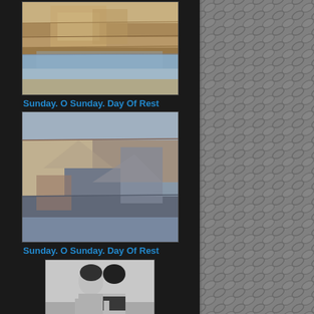[Figure (photo): Aerial/landscape photo of the Grand Canyon showing layered red rock formations and canyon walls from above]
Sunday. O Sunday. Day Of Rest
[Figure (photo): Photo of the Grand Canyon showing rocky cliffs and canyon depth with river visible below]
Sunday. O Sunday. Day Of Rest
[Figure (photo): Black and white photo of a man and woman, man is muscular and shirtless, woman is beside him]